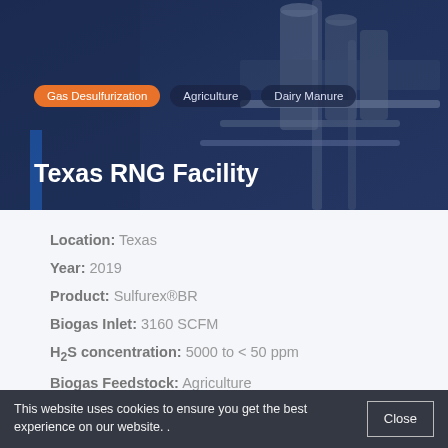[Figure (photo): Industrial gas processing facility with pipes, tanks and equipment against a dark blue overlay background]
Gas Desulfurization · Agriculture · Dairy Manure
Texas RNG Facility
Location: Texas
Year: 2019
Product: Sulfurex®BR
Biogas Inlet: 3160 SCFM
H₂S concentration: 5000 to < 50 ppm
Biogas Feedstock: Agriculture
Application: Pipeline Injection
This website uses cookies to ensure you get the best experience on our website..